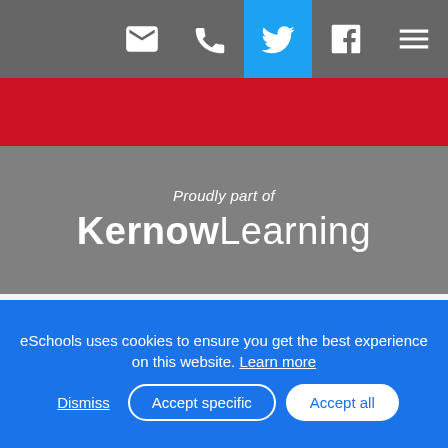Navigation bar with email, phone, Twitter, Facebook, and menu icons
[Figure (logo): Proudly part of KernowLearning branding on grey background with red banner]
Staff and Class Structure
The school is led by the Executive Headteacher, Mrs Kaye Pitcher and the Head of School is Mrs A Brook
eSchools uses cookies to ensure you get the best experience on this website. Learn more
Dismiss | Accept specific | Accept all